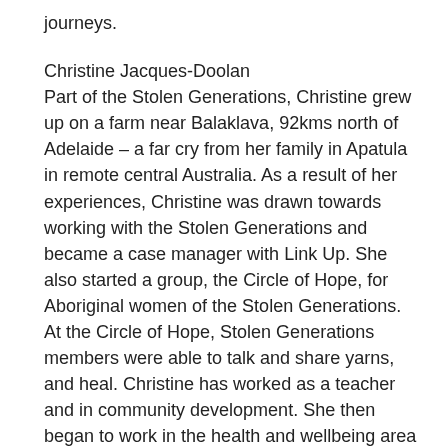journeys.
Christine Jacques-Doolan
Part of the Stolen Generations, Christine grew up on a farm near Balaklava, 92kms north of Adelaide – a far cry from her family in Apatula in remote central Australia. As a result of her experiences, Christine was drawn towards working with the Stolen Generations and became a case manager with Link Up. She also started a group, the Circle of Hope, for Aboriginal women of the Stolen Generations. At the Circle of Hope, Stolen Generations members were able to talk and share yarns, and heal. Christine has worked as a teacher and in community development. She then began to work in the health and wellbeing area and undertook a post graduate diploma in Social Sciences and Counselling Studies, and later a Masters in Social Sciences and Counselling Studies. She is currently working on a suicide prevention package which has been researched with Elders and the community. Christine is also a member of the South Australian branch of the National Stolen Generations Alliance and is working hard on community